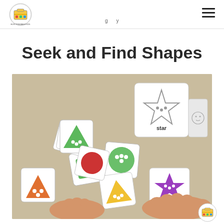[Figure (logo): Busy Printable Kids logo — circular badge with colorful icons]
Seek and Find Shapes
[Figure (photo): Child's hands playing with printed shape cards and a paper cube showing a star shape labeled 'star'. Cards show colorful triangles, circles, and stars on a tan/beige table surface.]